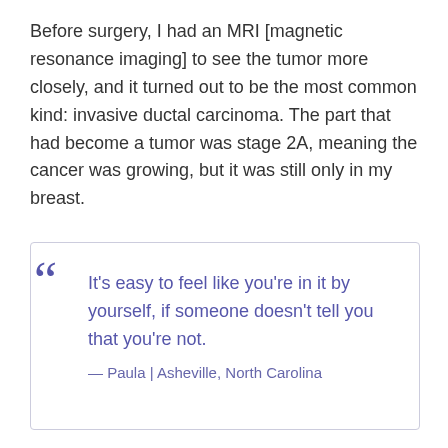Before surgery, I had an MRI [magnetic resonance imaging] to see the tumor more closely, and it turned out to be the most common kind: invasive ductal carcinoma. The part that had become a tumor was stage 2A, meaning the cancer was growing, but it was still only in my breast.
It's easy to feel like you're in it by yourself, if someone doesn't tell you that you're not.
— Paula | Asheville, North Carolina